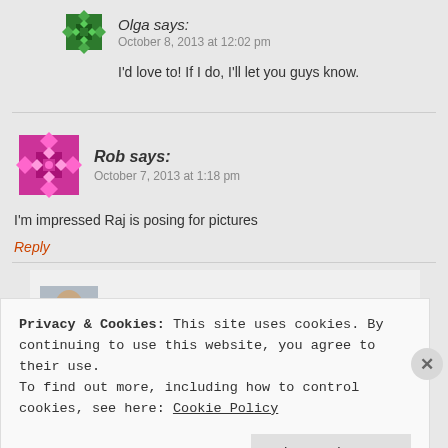[Figure (illustration): Olga avatar - green geometric snowflake pattern]
Olga says:
October 8, 2013 at 12:02 pm
I'd love to! If I do, I'll let you guys know.
[Figure (illustration): Rob avatar - pink/purple geometric snowflake pattern]
Rob says:
October 7, 2013 at 1:18 pm
I'm impressed Raj is posing for pictures
Reply
[Figure (photo): Anj & Raj avatar - photo of a man]
Anj & Raj says:
Privacy & Cookies: This site uses cookies. By continuing to use this website, you agree to their use.
To find out more, including how to control cookies, see here: Cookie Policy
Close and accept